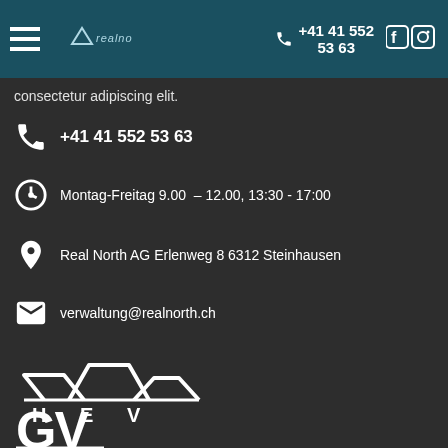realnorth   +41 41 552 53 63   [social icons]
consectetur adipiscing elit.
+41 41 552 53 63
Montag-Freitag 9.00 – 12.00, 13:30 - 17:00
Real North AG Erlenweg 8 6312 Steinhausen
verwaltung@realnorth.ch
[Figure (logo): HEV logo with three house roof outlines and text HEV below, followed by large GV letters]